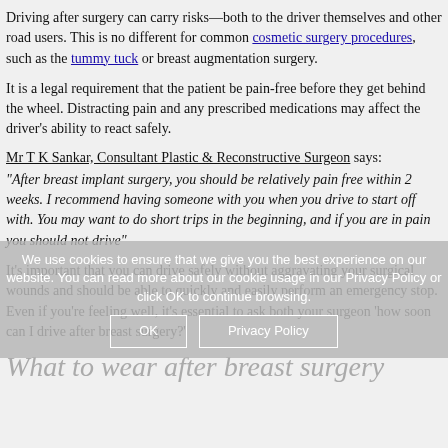Driving after surgery can carry risks—both to the driver themselves and other road users. This is no different for common cosmetic surgery procedures, such as the tummy tuck or breast augmentation surgery.
It is a legal requirement that the patient be pain-free before they get behind the wheel. Distracting pain and any prescribed medications may affect the driver's ability to react safely.
Mr T K Sankar, Consultant Plastic & Reconstructive Surgeon says:
"After breast implant surgery, you should be relatively pain free within 2 weeks. I recommend having someone with you when you drive to start off with. You may want to do short trips in the beginning, and if you are in pain you should not drive"
It's important that you can drive safely without aggravating your surgical wounds and should be able to quickly and easily perform an emergency stop. Even if you're feeling well, it's essential to ask both your surgeon 'how soon can I drive after breast surgery?'
What to wear after breast surgery
Post-operative aftercare is very important. As well as avoiding strenuous exercise